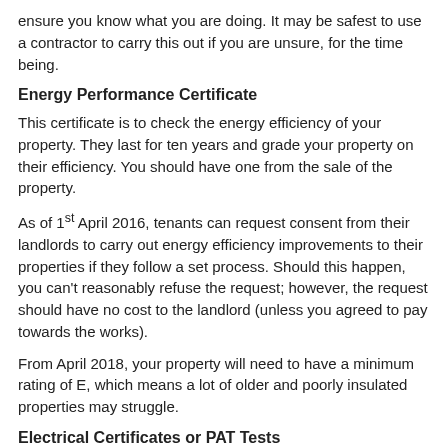ensure you know what you are doing. It may be safest to use a contractor to carry this out if you are unsure, for the time being.
Energy Performance Certificate
This certificate is to check the energy efficiency of your property. They last for ten years and grade your property on their efficiency. You should have one from the sale of the property.
As of 1st April 2016, tenants can request consent from their landlords to carry out energy efficiency improvements to their properties if they follow a set process. Should this happen, you can't reasonably refuse the request; however, the request should have no cost to the landlord (unless you agreed to pay towards the works).
From April 2018, your property will need to have a minimum rating of E, which means a lot of older and poorly insulated properties may struggle.
Electrical Certificates or PAT Tests
Electrical Certificates are not currently legally required of a landlord yet, but it is legally required that your electrical installations are safe when the tenancy begins and are in proper working order throughout the tenancy. It's recommended that you have a professional carry out the